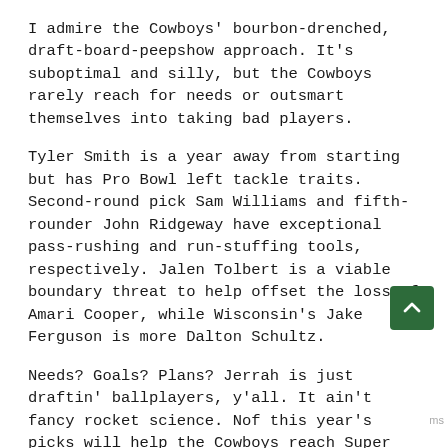I admire the Cowboys' bourbon-drenched, draft-board-peepshow approach. It's suboptimal and silly, but the Cowboys rarely reach for needs or outsmart themselves into taking bad players.
Tyler Smith is a year away from starting but has Pro Bowl left tackle traits. Second-round pick Sam Williams and fifth-rounder John Ridgeway have exceptional pass-rushing and run-stuffing tools, respectively. Jalen Tolbert is a viable boundary threat to help offset the loss of Amari Cooper, while Wisconsin's Jake Ferguson is more Dalton Schultz.
Needs? Goals? Plans? Jerrah is just draftin' ballplayers, y'all. It ain't fancy rocket science. None of this year's picks will help the Cowboys reach the Super Bowl in 2022, but a few will likely form the core of Jerrah's next batch of almost-contenders.
New York Giants